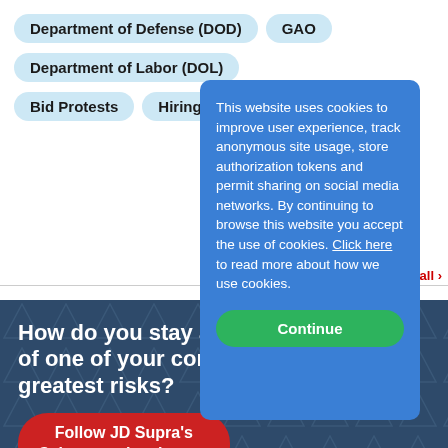Department of Defense (DOD)
GAO
Department of Labor (DOL)
Bid Protests
Hiring & Fi...
all ›
[Figure (screenshot): Dark blue banner with triangle pattern background showing promotional text for JD Supra Cybersecurity channel]
How do you stay ahe... of one of your comp... greatest risks?
Follow JD Supra's Cybersecurity chann...
A morning brief for corporate readers:
This website uses cookies to improve user experience, track anonymous site usage, store authorization tokens and permit sharing on social media networks. By continuing to browse this website you accept the use of cookies. Click here to read more about how we use cookies.
Continue